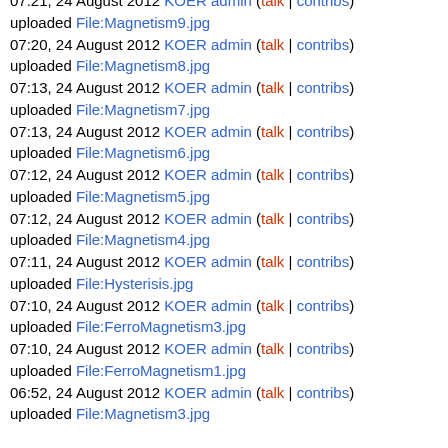07:21, 24 August 2012 KOER admin (talk | contribs) uploaded File:Magnetism9.jpg
07:20, 24 August 2012 KOER admin (talk | contribs) uploaded File:Magnetism8.jpg
07:13, 24 August 2012 KOER admin (talk | contribs) uploaded File:Magnetism7.jpg
07:13, 24 August 2012 KOER admin (talk | contribs) uploaded File:Magnetism6.jpg
07:12, 24 August 2012 KOER admin (talk | contribs) uploaded File:Magnetism5.jpg
07:12, 24 August 2012 KOER admin (talk | contribs) uploaded File:Magnetism4.jpg
07:11, 24 August 2012 KOER admin (talk | contribs) uploaded File:Hysterisis.jpg
07:10, 24 August 2012 KOER admin (talk | contribs) uploaded File:FerroMagnetism3.jpg
07:10, 24 August 2012 KOER admin (talk | contribs) uploaded File:FerroMagnetism1.jpg
06:52, 24 August 2012 KOER admin (talk | contribs) uploaded File:Magnetism3.jpg